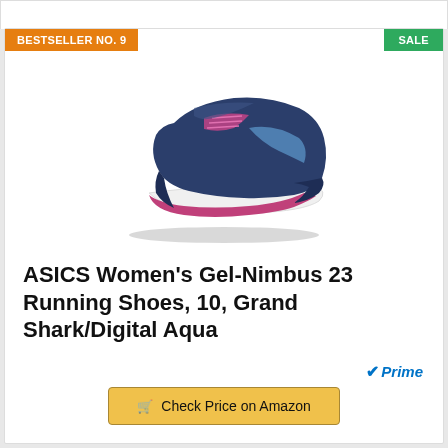BESTSELLER NO. 9
SALE
[Figure (photo): ASICS Women's Gel-Nimbus 23 running shoe in Grand Shark/Digital Aqua colorway — dark navy blue upper with magenta/pink accents on the midsole and laces, light blue ASICS logo stripe, white midsole, viewed from the side.]
ASICS Women's Gel-Nimbus 23 Running Shoes, 10, Grand Shark/Digital Aqua
Prime
Check Price on Amazon